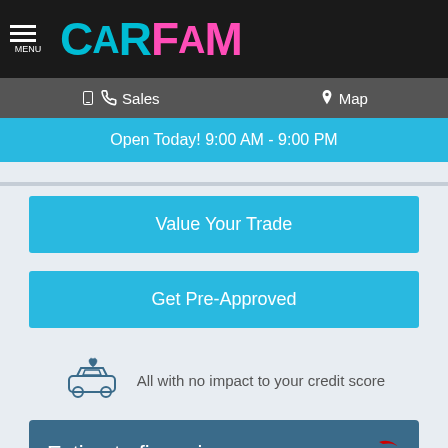MENU | CarFam
Sales | Map
Open Today! 9:00 AM - 9:00 PM
Value Your Trade
Get Pre-Approved
All with no impact to your credit score
Estimate financing
FINANCE $355/mo